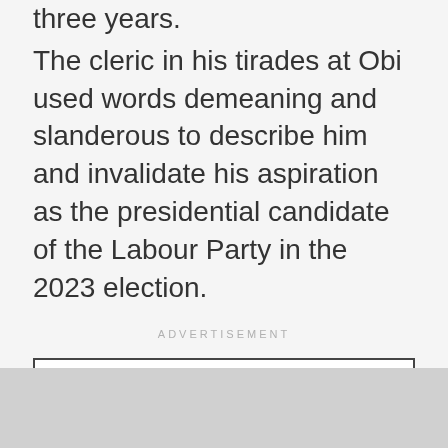embarrassing obligation of the politician in the past three years.
The cleric in his tirades at Obi used words demeaning and slanderous to describe him and invalidate his aspiration as the presidential candidate of the Labour Party in the 2023 election.
ADVERTISEMENT
Mbaka had blurted out that Obi is a stingy man and that he has cursed him and he would never be the president of Nigeria.
[Figure (other): White advertisement box with border]